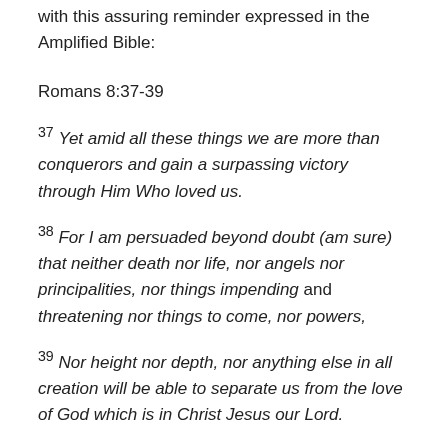with this assuring reminder expressed in the Amplified Bible:
Romans 8:37-39
37 Yet amid all these things we are more than conquerors and gain a surpassing victory through Him Who loved us.
38 For I am persuaded beyond doubt (am sure) that neither death nor life, nor angels nor principalities, nor things impending and threatening nor things to come, nor powers,
39 Nor height nor depth, nor anything else in all creation will be able to separate us from the love of God which is in Christ Jesus our Lord.
The vastness of God's love is revealed in the song “The love of God” and we learn more fully at rejoicing at the